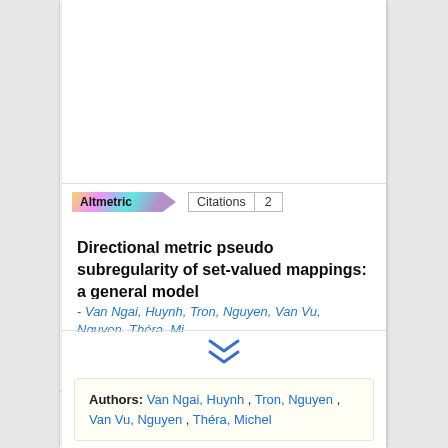[Figure (other): Altmetric badge and Citations count badge showing 2 citations]
Directional metric pseudo subregularity of set-valued mappings: a general model
- Van Ngai, Huynh, Tron, Nguyen, Van Vu, Nguyen, Théra, Mi...
[Figure (other): Double chevron down arrow icon]
Authors: Van Ngai, Huynh , Tron, Nguyen , Van Vu, Nguyen , Théra, Michel